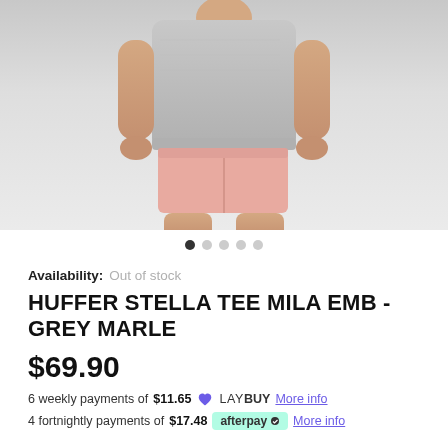[Figure (photo): Product photo of a woman wearing a grey marle t-shirt and pink shorts, shown from torso down, on a light grey background. Carousel dot indicators shown below.]
Availability: Out of stock
HUFFER STELLA TEE MILA EMB - GREY MARLE
$69.90
6 weekly payments of $11.65 [Laybuy logo] More info
4 fortnightly payments of $17.48 [Afterpay logo] More info